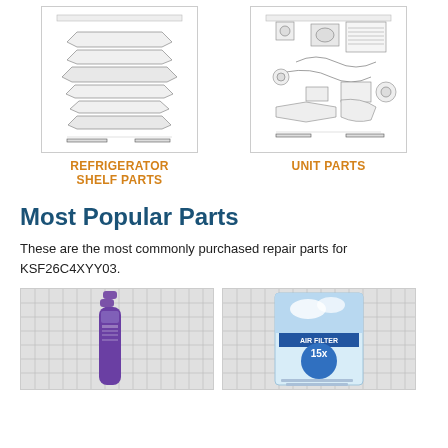[Figure (schematic): Exploded diagram of refrigerator shelf parts showing multiple shelves and components stacked vertically]
REFRIGERATOR SHELF PARTS
[Figure (schematic): Exploded technical diagram of unit parts showing compressor, fans, and mechanical components with part numbers]
UNIT PARTS
Most Popular Parts
These are the most commonly purchased repair parts for KSF26C4XYY03.
[Figure (photo): Photo of a purple spray bottle product on a white grid background]
[Figure (photo): Photo of an air filter product package labeled 'AIR FILTER' with '15x' marking on white grid background]